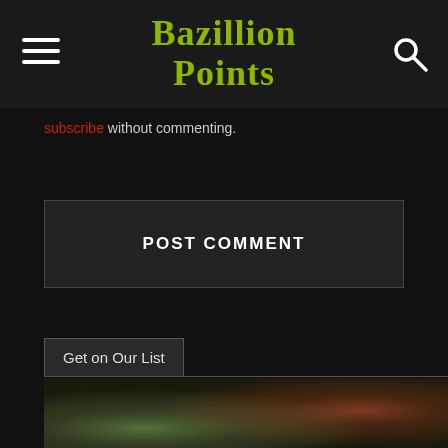Bazillion Points
subscribe without commenting.
POST COMMENT
Get on Our List
[Figure (illustration): Dark gradient background image with green tones on left and reddish-brown tones on right, blending into a dark background]